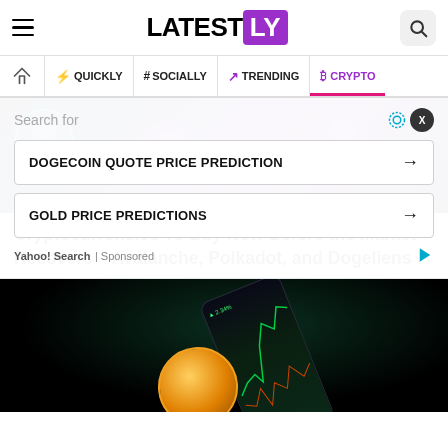LATESTLY
Home | QUICKLY | # SOCIALLY | TRENDING | CRYPTO
Search for
DOGECOIN QUOTE PRICE PREDICTION →
GOLD PRICE PREDICTIONS →
Yahoo! Search | Sponsored
[Figure (photo): Dogeliens crypto promotional banner with dark blue and purple space-themed background, cartoon bear mascot, glowing orbs]
Cryptocurrencies To Buy Now Before the Market Recovers – Avalanche, Polkadot, and Dogeliens
[Figure (photo): Dark background photo showing a smartphone displaying a green cryptocurrency trading chart, with a gold Bitcoin coin in the foreground]